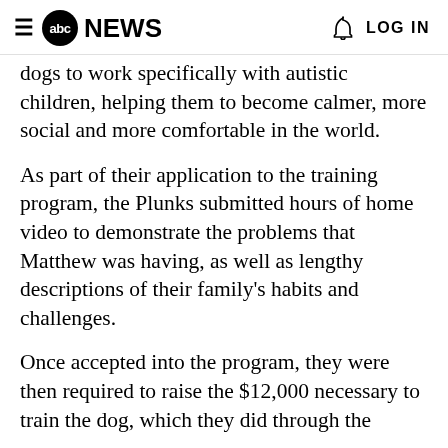abc NEWS  LOG IN
dogs to work specifically with autistic children, helping them to become calmer, more social and more comfortable in the world.
As part of their application to the training program, the Plunks submitted hours of home video to demonstrate the problems that Matthew was having, as well as lengthy descriptions of their family's habits and challenges.
Once accepted into the program, they were then required to raise the $12,000 necessary to train the dog, which they did through the